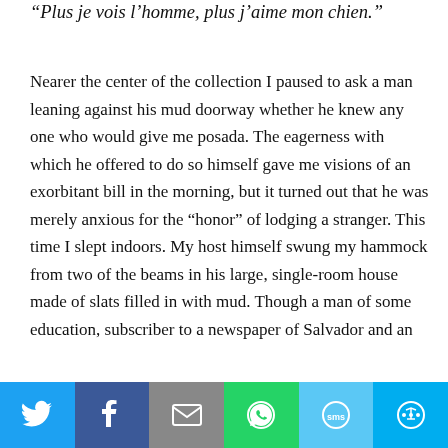“Plus je vois l’homme, plus j’aime mon chien.”
Nearer the center of the collection I paused to ask a man leaning against his mud doorway whether he knew any one who would give me posada. The eagerness with which he offered to do so himself gave me visions of an exorbitant bill in the morning, but it turned out that he was merely anxious for the “honor” of lodging a stranger. This time I slept indoors. My host himself swung my hammock from two of the beams in his large, single-room house made of slats filled in with mud. Though a man of some education, subscriber to a newspaper of Salvador and an
[Figure (other): Social sharing bar with Twitter, Facebook, Email, WhatsApp, SMS, and More buttons]